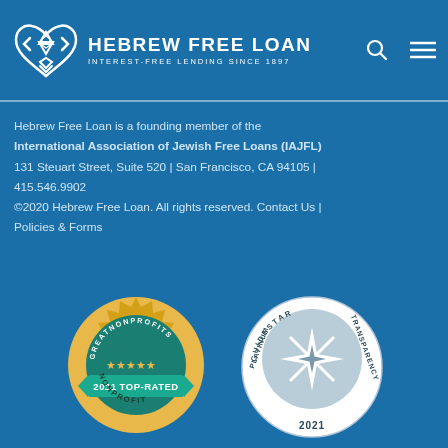HEBREW FREE LOAN — INTEREST-FREE LENDING SINCE 1897
Hebrew Free Loan is a founding member of the International Association of Jewish Free Loans (IAJFL)
131 Steuart Street, Suite 520 | San Francisco, CA 94105 | 415.546.9902
©2020 Hebrew Free Loan. All rights reserved. Contact Us | Policies & Forms
[Figure (logo): GreatNonprofits 2021 Top-Rated Nonprofit badge — gold seal with teal ribbon]
[Figure (logo): GuideStar Platinum Transparency 2021 badge — silver/white circular seal with compass star]